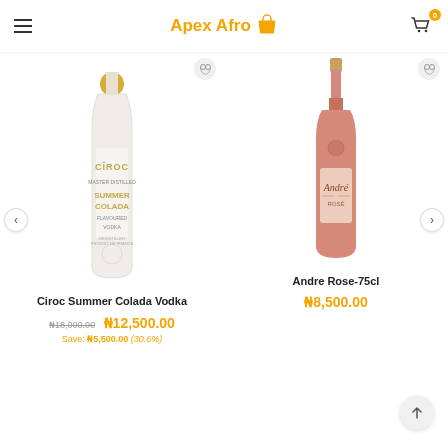Apex Afro
[Figure (photo): Ciroc Summer Colada Vodka bottle - white and gold bottle with CIROC SUMMER COLADA FLAVOURED VODKA label]
Ciroc Summer Colada Vodka
₦18,000.00  ₦12,500.00  Save: ₦5,500.00 (30.6%)
[Figure (photo): Andre Rose 75cl wine bottle - rose/pink champagne style bottle with Andre label]
Andre Rose-75cl
₦8,500.00